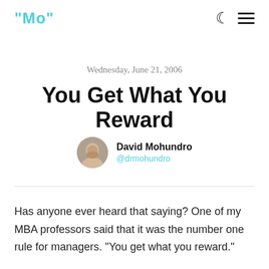"Mo"
Wednesday, June 21, 2006
You Get What You Reward
David Mohundro @drmohundro
Has anyone ever heard that saying? One of my MBA professors said that it was the number one rule for managers. "You get what you reward."